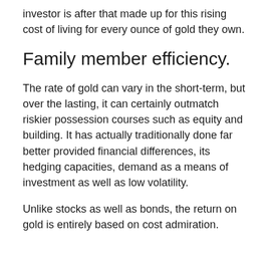investor is after that made up for this rising cost of living for every ounce of gold they own.
Family member efficiency.
The rate of gold can vary in the short-term, but over the lasting, it can certainly outmatch riskier possession courses such as equity and building. It has actually traditionally done far better provided financial differences, its hedging capacities, demand as a means of investment as well as low volatility.
Unlike stocks as well as bonds, the return on gold is entirely based on cost admiration.